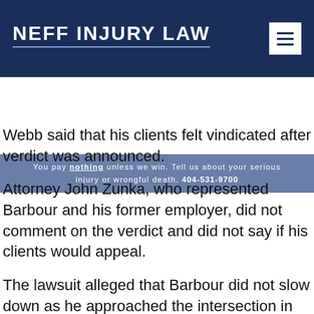NEFF INJURY LAW
You pay nothing unless we win. Tell us about your serious injury or wrongful death. 404-531-9700
Webb said that his clients felt vindicated after verdict was announced.
Attorney John Zunka, who represented Barbour and his former employer, did not comment on the verdict and did not say if his clients would appeal.
The lawsuit alleged that Barbour did not slow down as he approached the intersection in his tractor trailer truck. Aichs was making a left turn in her car when the tractor trailer hit her car. The lawsuit claimed that Barbour's employers were